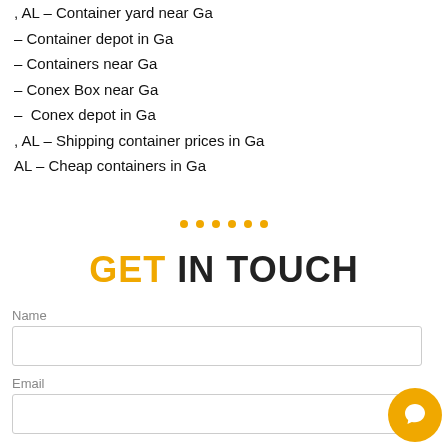, AL – Container yard near Ga
– Container depot in Ga
– Containers near Ga
– Conex Box near Ga
–  Conex depot in Ga
, AL – Shipping container prices in Ga
AL – Cheap containers in Ga
GET IN TOUCH
Name
Email